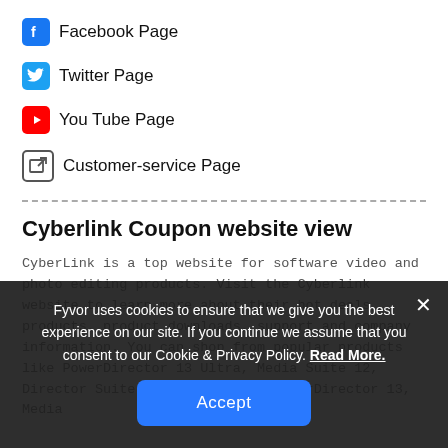Facebook Page
Twitter Page
You Tube Page
Customer-service Page
Cyberlink Coupon website view
CyberLink is a top website for software video and photo editing products. Visit the Cyberlink website to learn more about their hot deals, products, product downloads, support and company information. You can shop from popular products like PowerDirector 13 Ultra, Media Suite 12, Director Suite 3, PowerDVD 14, PowerDirector 13, Media
Fyvor uses cookies to ensure that we give you the best experience on our site. If you continue we assume that you consent to our Cookie & Privacy Policy. Read More.